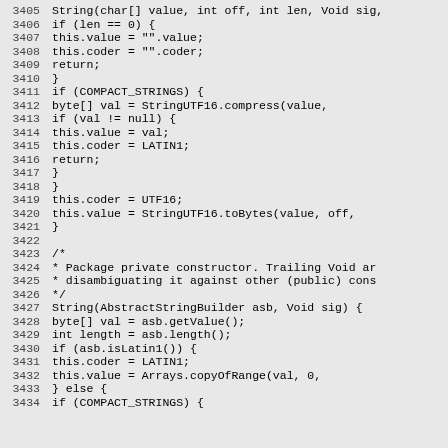Code listing lines 3405-3434, Java source code for String constructor methods
3405    String(char[] value, int off, int len, Void sig,
3406        if (len == 0) {
3407            this.value = "".value;
3408            this.coder = "".coder;
3409            return;
3410        }
3411        if (COMPACT_STRINGS) {
3412            byte[] val = StringUTF16.compress(value,
3413            if (val != null) {
3414                this.value = val;
3415                this.coder = LATIN1;
3416                return;
3417            }
3418        }
3419        this.coder = UTF16;
3420        this.value = StringUTF16.toBytes(value, off,
3421    }
3422
3423    /*
3424     * Package private constructor. Trailing Void ar
3425     * disambiguating it against other (public) cons
3426     */
3427    String(AbstractStringBuilder asb, Void sig) {
3428        byte[] val = asb.getValue();
3429        int length = asb.length();
3430        if (asb.isLatin1()) {
3431            this.coder = LATIN1;
3432            this.value = Arrays.copyOfRange(val, 0,
3433        } else {
3434            if (COMPACT_STRINGS) {